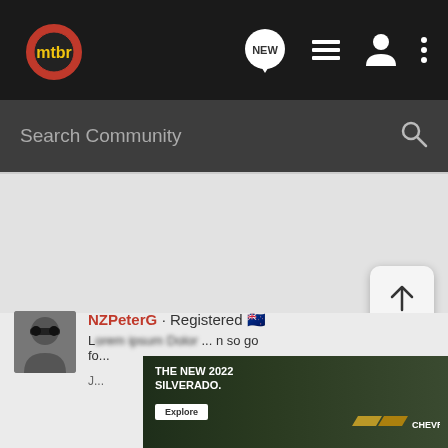mtbr
Search Community
NZPeterG · Registered 🇳🇿
...m so go fo...
[Figure (screenshot): Chevrolet ad: THE NEW 2022 SILVERADO. with Explore button and Chevrolet logo]
J...